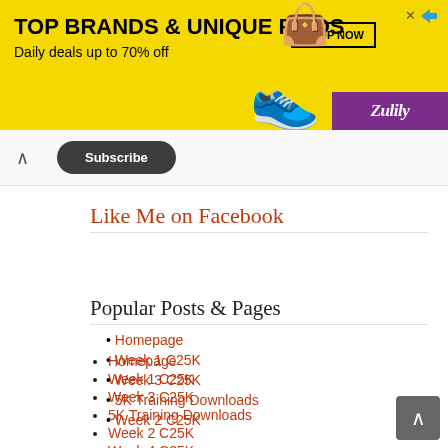[Figure (other): Zulily advertisement banner: yellow background with text 'TOP BRANDS & UNIQUE FINDS / Daily deals up to 70% off', SHOP NOW button, shoe and bag images, purple Zulily branding]
Subscribe
Like Me on Facebook
Popular Posts & Pages
Homepage
Week 1 C25K
Week 3 C25K
5K Training Downloads
Week 2 C25K
Week 4 C25K
Week 7 C25K
Week 6 C25K